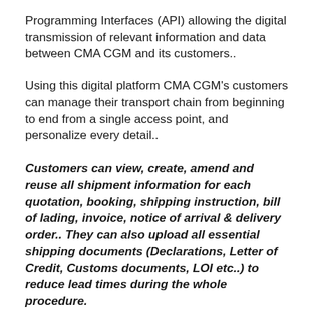Programming Interfaces (API) allowing the digital transmission of relevant information and data between CMA CGM and its customers..
Using this digital platform CMA CGM's customers can manage their transport chain from beginning to end from a single access point, and personalize every detail..
Customers can view, create, amend and reuse all shipment information for each quotation, booking, shipping instruction, bill of lading, invoice, notice of arrival & delivery order.. They can also upload all essential shipping documents (Declarations, Letter of Credit, Customs documents, LOI etc..) to reduce lead times during the whole procedure.